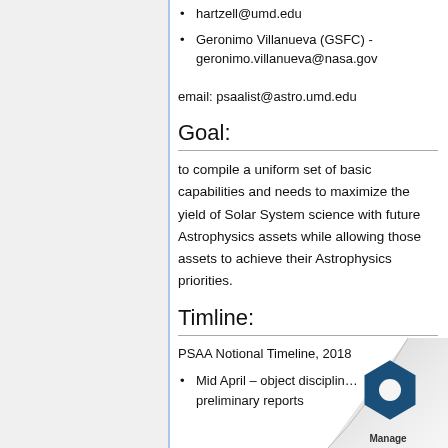hartzell@umd.edu
Geronimo Villanueva (GSFC) - geronimo.villanueva@nasa.gov
email: psaalist@astro.umd.edu
Goal:
to compile a uniform set of basic capabilities and needs to maximize the yield of Solar System science with future Astrophysics assets while allowing those assets to achieve their Astrophysics priorities.
Timline:
PSAA Notional Timeline, 2018
Mid April – object disciplin… preliminary reports